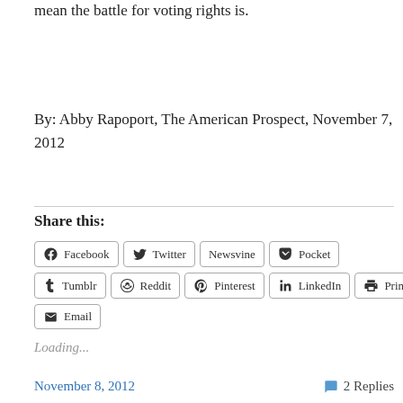mean the battle for voting rights is.
By: Abby Rapoport, The American Prospect, November 7, 2012
Share this:
Facebook  Twitter  Newsvine  Pocket  Tumblr  Reddit  Pinterest  LinkedIn  Print  Email
Loading...
November 8, 2012   2 Replies